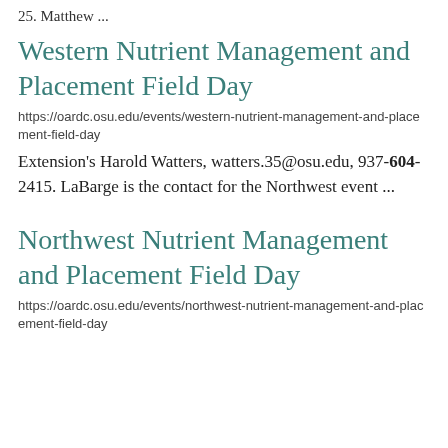25. Matthew ...
Western Nutrient Management and Placement Field Day
https://oardc.osu.edu/events/western-nutrient-management-and-placement-field-day
Extension's Harold Watters, watters.35@osu.edu, 937-604-2415. LaBarge is the contact for the Northwest event ...
Northwest Nutrient Management and Placement Field Day
https://oardc.osu.edu/events/northwest-nutrient-management-and-placement-field-day
...